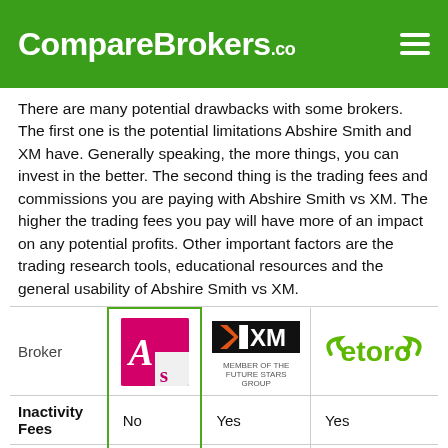CompareBrokers.co
There are many potential drawbacks with some brokers. The first one is the potential limitations Abshire Smith and XM have. Generally speaking, the more things, you can invest in the better. The second thing is the trading fees and commissions you are paying with Abshire Smith vs XM. The higher the trading fees you pay will have more of an impact on any potential profits. Other important factors are the trading research tools, educational resources and the general usability of Abshire Smith vs XM.
| Broker | Abshire Smith | XM | eToro |
| --- | --- | --- | --- |
| Inactivity Fees | No | Yes | Yes |
| Withdrawal | Yes | No | Yes |